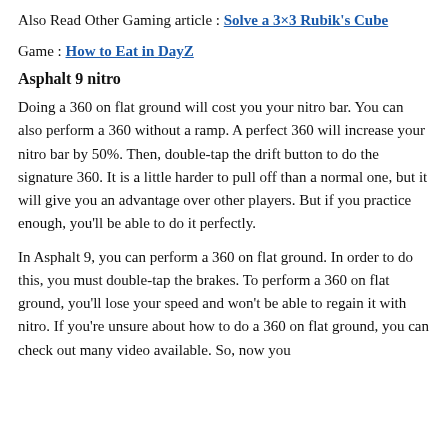Also Read Other Gaming article : Solve a 3×3 Rubik's Cube
Game : How to Eat in DayZ
Asphalt 9 nitro
Doing a 360 on flat ground will cost you your nitro bar. You can also perform a 360 without a ramp. A perfect 360 will increase your nitro bar by 50%. Then, double-tap the drift button to do the signature 360. It is a little harder to pull off than a normal one, but it will give you an advantage over other players. But if you practice enough, you'll be able to do it perfectly.
In Asphalt 9, you can perform a 360 on flat ground. In order to do this, you must double-tap the brakes. To perform a 360 on flat ground, you'll lose your speed and won't be able to regain it with nitro. If you're unsure about how to do a 360 on flat ground, you can check out many video available. So, now you